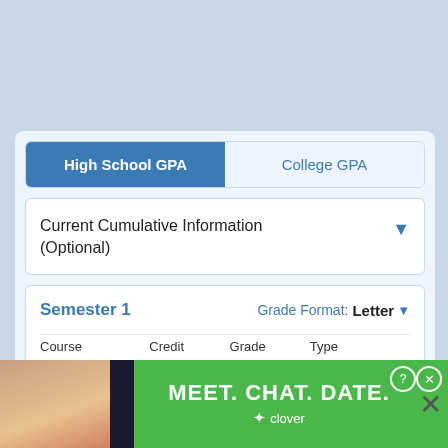High School GPA | College GPA
Current Cumulative Information (Optional)
Semester 1
Grade Format: Letter
| Course | Credit | Grade | Type |
| --- | --- | --- | --- |
| Course Name |  |  |  |
[Figure (screenshot): Advertisement banner: MEET. CHAT. DATE. by Clover app]